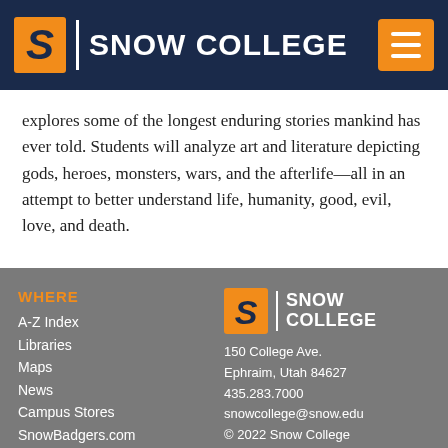[Figure (logo): Snow College logo with orange S and white text on dark navy header bar, with orange hamburger menu button on right]
explores some of the longest enduring stories mankind has ever told. Students will analyze art and literature depicting gods, heroes, monsters, wars, and the afterlife—all in an attempt to better understand life, humanity, good, evil, love, and death.
WHERE | A-Z Index | Libraries | Maps | News | Campus Stores | SnowBadgers.com | Snow College | 150 College Ave. Ephraim, Utah 84627 | 435.283.7000 | snowcollege@snow.edu | © 2022 Snow College